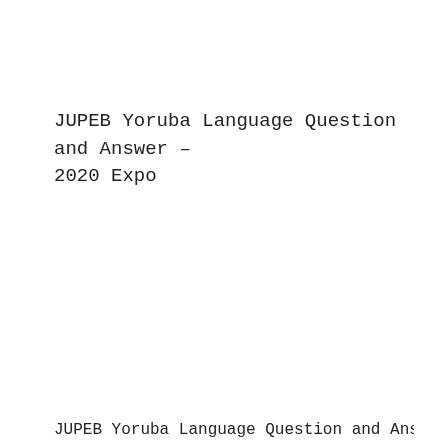JUPEB Yoruba Language Question and Answer – 2020 Expo
JUPEB Yoruba Language Question and Answer – 2020